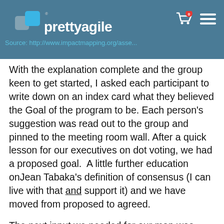prettyagile
Source: http://www.impactmapping.org/asse...
With the explanation complete and the group keen to get started, I asked each participant to write down on an index card what they believed the Goal of the program to be. Each person's suggestion was read out to the group and pinned to the meeting room wall. After a quick lesson for our executives on dot voting, we had a proposed goal.  A little further education onJean Tabaka's definition of consensus (I can live with that and support it) and we have moved from proposed to agreed.
The next input we needed for our map was Actors. I briefly reminded the group of the